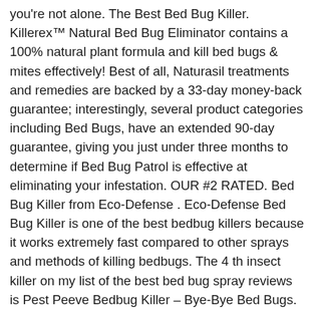you're not alone. The Best Bed Bug Killer. Killerex™ Natural Bed Bug Eliminator contains a 100% natural plant formula and kill bed bugs & mites effectively! Best of all, Naturasil treatments and remedies are backed by a 33-day money-back guarantee; interestingly, several product categories including Bed Bugs, have an extended 90-day guarantee, giving you just under three months to determine if Bed Bug Patrol is effective at eliminating your infestation. OUR #2 RATED. Bed Bug Killer from Eco-Defense . Eco-Defense Bed Bug Killer is one of the best bedbug killers because it works extremely fast compared to other sprays and methods of killing bedbugs. The 4 th insect killer on my list of the best bed bug spray reviews is Pest Peeve Bedbug Killer – Bye-Bye Bed Bugs. Some sprays can be uncomfortable to withstand and may cause you to leave the area for some time. best insecticide for bed bugs. 02. We doesn't provide best bed bug killer products or service, please contact them directly and verify their companies info carefully. This spray is formulated to kill adult bed bugs as well as their